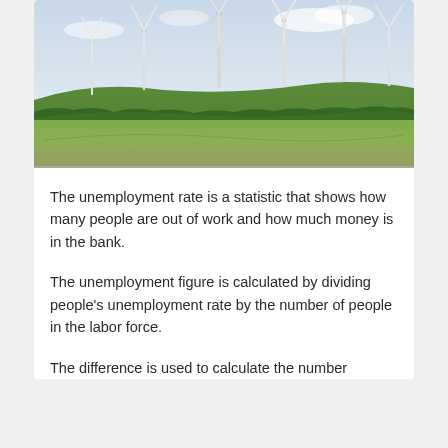[Figure (photo): Aerial photograph of a wind farm with multiple large wind turbines standing on rolling green agricultural fields under an overcast sky.]
The unemployment rate is a statistic that shows how many people are out of work and how much money is in the bank.
The unemployment figure is calculated by dividing people's unemployment rate by the number of people in the labor force.
The difference is used to calculate the number